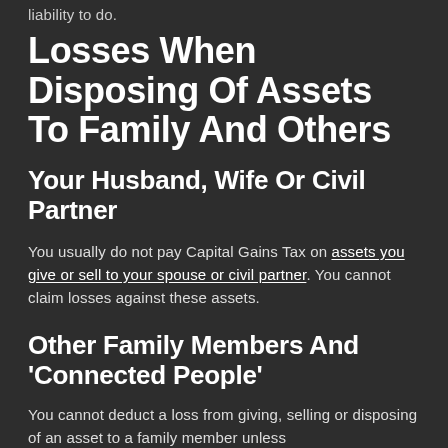liability to do.
Losses When Disposing Of Assets To Family And Others
Your Husband, Wife Or Civil Partner
You usually do not pay Capital Gains Tax on assets you give or sell to your spouse or civil partner. You cannot claim losses against these assets.
Other Family Members And 'Connected People'
You cannot deduct a loss from giving, selling or disposing of an asset to a family member unless